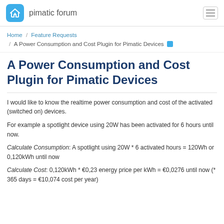pimatic forum
Home / Feature Requests / A Power Consumption and Cost Plugin for Pimatic Devices
A Power Consumption and Cost Plugin for Pimatic Devices
I would like to know the realtime power consumption and cost of the activated (switched on) devices.
For example a spotlight device using 20W has been activated for 6 hours until now.
Calculate Consumption: A spotlight using 20W * 6 activated hours = 120Wh or 0,120kWh until now
Calculate Cost: 0,120kWh * €0,23 energy price per kWh = €0,0276 until now (* 365 days = €10,074 cost per year)